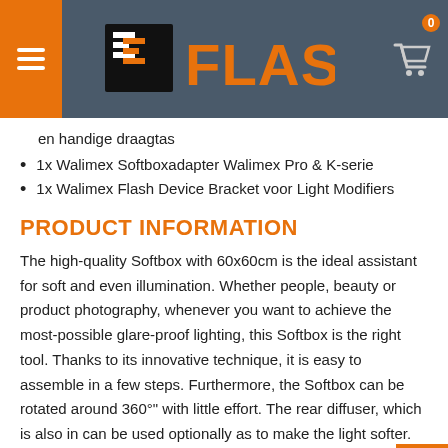FLASH (logo with hamburger menu and cart icon)
en handige draagtas
1x Walimex Softboxadapter Walimex Pro & K-serie
1x Walimex Flash Device Bracket voor Light Modifiers
PRODUCT INFORMATION
The high-quality Softbox with 60x60cm is the ideal assistant for soft and even illumination. Whether people, beauty or product photography, whenever you want to achieve the most-possible glare-proof lighting, this Softbox is the right tool. Thanks to its innovative technique, it is easy to assemble in a few steps. Furthermore, the Softbox can be rotated around 360°" with little effort. The rear diffuser, which is also in can be used optionally as to make the light softer. The f and rear diffuser are easy to remove by means of Velcro